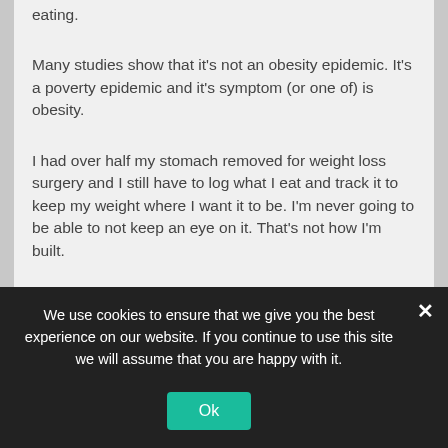eating.
Many studies show that it's not an obesity epidemic. It's a poverty epidemic and it's symptom (or one of) is obesity.
I had over half my stomach removed for weight loss surgery and I still have to log what I eat and track it to keep my weight where I want it to be. I'm never going to be able to not keep an eye on it. That's not how I'm built.
But to say that to someone who is struggling can be disheartening. And to say it to someone who doesn't struggle is to risk them asking me if I've
We use cookies to ensure that we give you the best experience on our website. If you continue to use this site we will assume that you are happy with it.